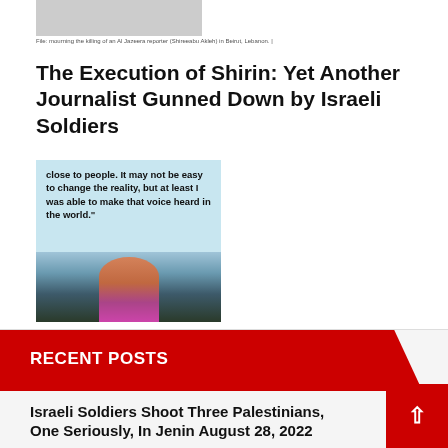[Figure (photo): Partial image of a scene visible at top of page]
File: mourning the killing of an Al Jazeera reporter (Shireeabu Akleh) in Beirut, Lebanon. |
The Execution of Shirin: Yet Another Journalist Gunned Down by Israeli Soldiers
[Figure (photo): Quote card featuring Shireen Abu Akleh quote: 'close to people. It may not be easy to change the reality, but at least I was able to make that voice heard in the world.' SHIREEN ABU AKLEH, PALESTINIAN AL JAZEERA JOURNALIST ASSASSINATED BY ISRAELI MILITARY — with photo of Shireen Abu Akleh against city skyline background]
RECENT POSTS
Israeli Soldiers Shoot Three Palestinians, One Seriously, In Jenin August 28, 2022